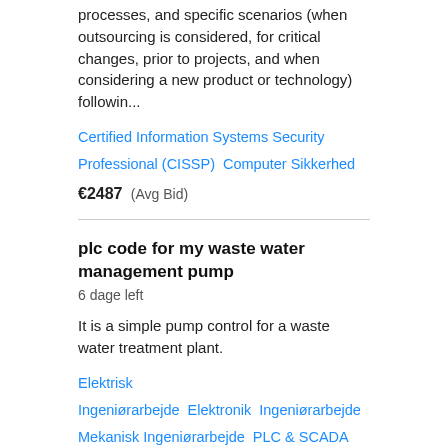processes, and specific scenarios (when outsourcing is considered, for critical changes, prior to projects, and when considering a new product or technology) followin...
Certified Information Systems Security Professional (CISSP)   Computer Sikkerhed
€2487  (Avg Bid)
plc code for my waste water management pump
6 dage left
It is a simple pump control for a waste water treatment plant.
Elektrisk Ingeniørarbejde   Elektronik   Ingeniørarbejde   Mekanisk Ingeniørarbejde   PLC & SCADA
€82  (Avg Bid)
Write reports for Sygnific International Consulting